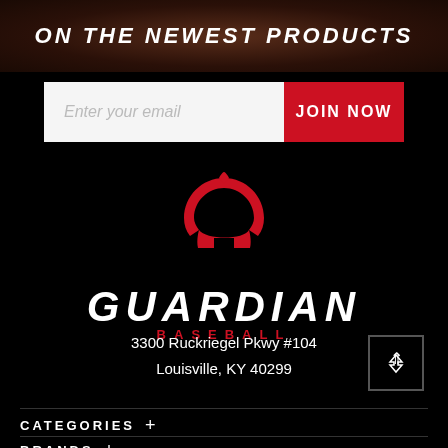ON THE NEWEST PRODUCTS
Enter your email
JOIN NOW
[Figure (logo): Guardian Baseball logo — red Spartan helmet icon above the word GUARDIAN in large white italic bold letters, with BASEBALL in red spaced capitals beneath]
3300 Ruckriegel Pkwy #104
Louisville, KY 40299
CATEGORIES +
BRANDS +